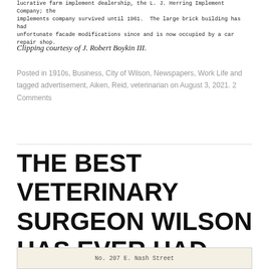lucrative farm implement dealership, the L. J. Herring Implement Company; the implements company survived until 1961. The large brick building has had unfortunate facade modifications since and is now occupied by a car repair shop.
Clipping courtesy of J. Robert Boykin III.
Posted in 1910s, Business, City of Wilson, Newspapers, Work Life and tagged advertisement, Aiken, Reid, veterinarian on August 3, 2021. 2 Comments
THE BEST VETERINARY SURGEON WILSON HAS EVER HAD.
[Figure (photo): Bottom portion of a historical newspaper clipping, showing partial text 'No. 207 E. Nash Street']